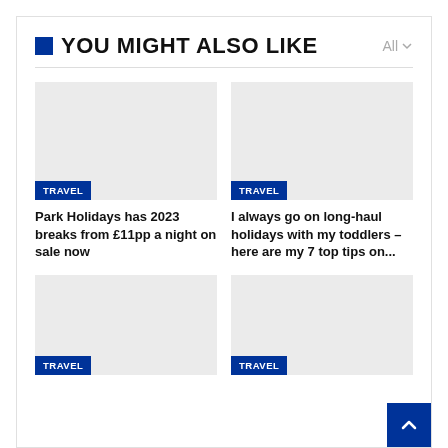YOU MIGHT ALSO LIKE
[Figure (photo): Gray placeholder image for travel article with TRAVEL tag]
Park Holidays has 2023 breaks from £11pp a night on sale now
[Figure (photo): Gray placeholder image for travel article with TRAVEL tag]
I always go on long-haul holidays with my toddlers – here are my 7 top tips on...
[Figure (photo): Gray placeholder image for travel article with TRAVEL tag (partially visible)]
[Figure (photo): Gray placeholder image for travel article with TRAVEL tag (partially visible)]